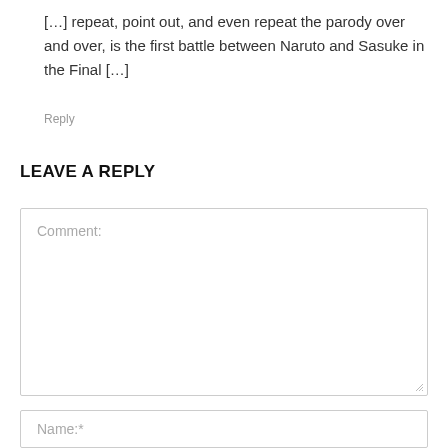[…] repeat, point out, and even repeat the parody over and over, is the first battle between Naruto and Sasuke in the Final […]
Reply
LEAVE A REPLY
Comment:
Name:*